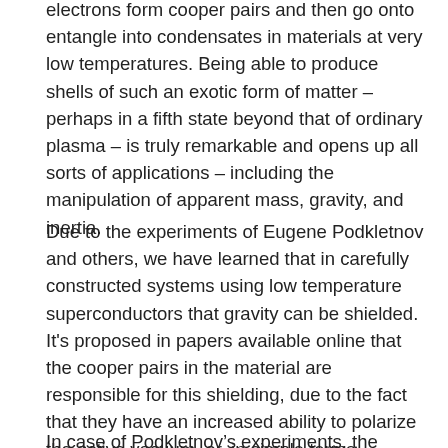electrons form cooper pairs and then go onto entangle into condensates in materials at very low temperatures. Being able to produce shells of such an exotic form of matter – perhaps in a fifth state beyond that of ordinary plasma – is truly remarkable and opens up all sorts of applications – including the manipulation of apparent mass, gravity, and inertia.
Due to the experiments of Eugene Podkletnov and others, we have learned that in carefully constructed systems using low temperature superconductors that gravity can be shielded. It's proposed in papers available online that the cooper pairs in the material are responsible for this shielding, due to the fact that they have an increased ability to polarize the active vacuum, or, in simple terms, manipulate the “aether” or universal medium of space that’s responsible for gravity.
In case of Podkletnov’s experiments, the forces of gravity...